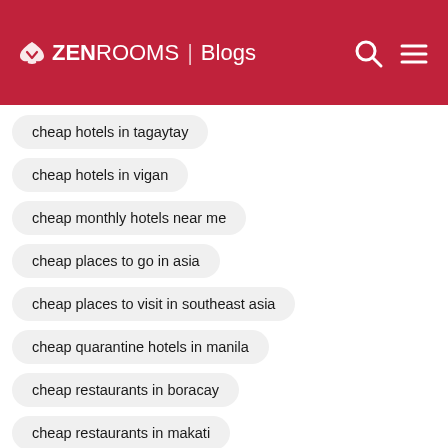ZEN ROOMS | Blogs
cheap hotels in tagaytay
cheap hotels in vigan
cheap monthly hotels near me
cheap places to go in asia
cheap places to visit in southeast asia
cheap quarantine hotels in manila
cheap restaurants in boracay
cheap restaurants in makati
cheap staycation in antipolo